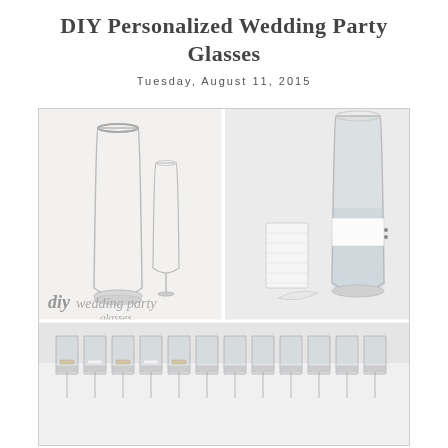DIY Personalized Wedding Party Glasses
Tuesday, August 11, 2015
[Figure (photo): Collage of three photos: top-left shows two clear glass tumblers/flutes on a white background with 'diy wedding party glasses' text overlay; top-right shows a decorated glass with white ribbon/wrap and a small candle holder with lace; bottom shows a row of small clear shot glasses with decorations on a white tablecloth.]